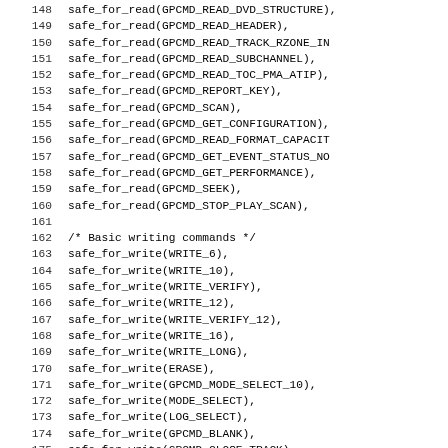Code listing lines 148-179 showing safe_for_read and safe_for_write function calls in C source code
148	safe_for_read(GPCMD_READ_DVD_STRUCTURE),
149	safe_for_read(GPCMD_READ_HEADER),
150	safe_for_read(GPCMD_READ_TRACK_RZONE_IN
151	safe_for_read(GPCMD_READ_SUBCHANNEL),
152	safe_for_read(GPCMD_READ_TOC_PMA_ATIP),
153	safe_for_read(GPCMD_REPORT_KEY),
154	safe_for_read(GPCMD_SCAN),
155	safe_for_read(GPCMD_GET_CONFIGURATION),
156	safe_for_read(GPCMD_READ_FORMAT_CAPACIT
157	safe_for_read(GPCMD_GET_EVENT_STATUS_NO
158	safe_for_read(GPCMD_GET_PERFORMANCE),
159	safe_for_read(GPCMD_SEEK),
160	safe_for_read(GPCMD_STOP_PLAY_SCAN),
161
162	/* Basic writing commands */
163	safe_for_write(WRITE_6),
164	safe_for_write(WRITE_10),
165	safe_for_write(WRITE_VERIFY),
166	safe_for_write(WRITE_12),
167	safe_for_write(WRITE_VERIFY_12),
168	safe_for_write(WRITE_16),
169	safe_for_write(WRITE_LONG),
170	safe_for_write(ERASE),
171	safe_for_write(GPCMD_MODE_SELECT_10),
172	safe_for_write(MODE_SELECT),
173	safe_for_write(LOG_SELECT),
174	safe_for_write(GPCMD_BLANK),
175	safe_for_write(GPCMD_CLOSE_TRACK),
176	safe_for_write(GPCMD_FLUSH_CACHE),
177	safe_for_write(GPCMD_FORMAT_UNIT),
178	safe_for_write(GPCMD_REPAIR_RZONE_TRACK
179	safe_for_write(GPCMD_RESERVE_RZONE_TRA